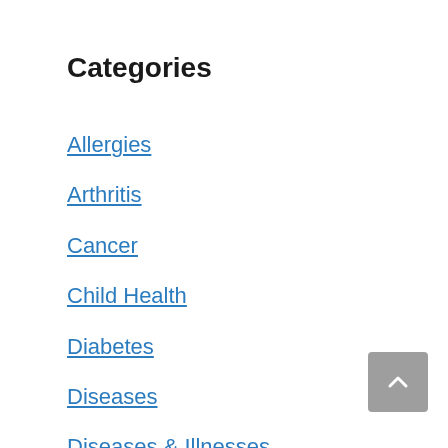Categories
Allergies
Arthritis
Cancer
Child Health
Diabetes
Diseases
Diseases & Illnesses
Drugs and Supplements
Ear Disorders
Exercise
Eye Care